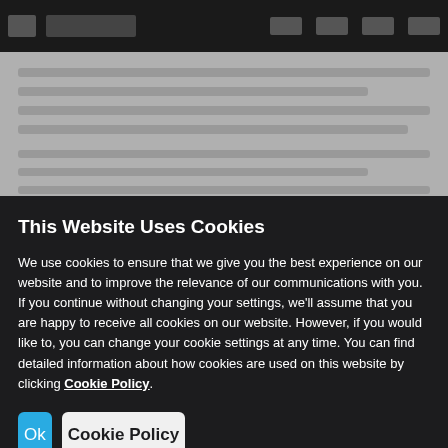[Figure (screenshot): Blurred website background with dark navigation bar showing hamburger icon, logo, and right-side nav icons. Below nav is blurred gray page content.]
This Website Uses Cookies
We use cookies to ensure that we give you the best experience on our website and to improve the relevance of our communications with you. If you continue without changing your settings, we'll assume that you are happy to receive all cookies on our website. However, if you would like to, you can change your cookie settings at any time. You can find detailed information about how cookies are used on this website by clicking Cookie Policy.
Ok
Cookie Policy